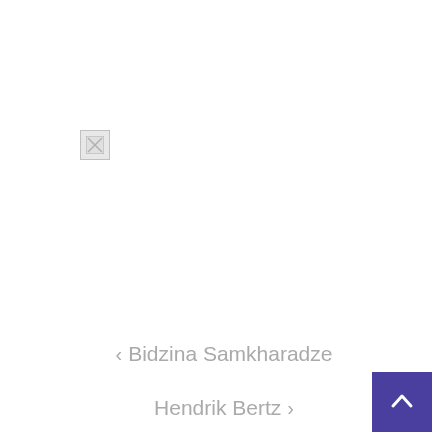[Figure (other): Broken/missing image placeholder with X icon, gray border]
< Bidzina Samkharadze
Hendrik Bertz >
[Figure (other): Scroll-to-top button: dark purple/indigo square with white upward chevron arrow]